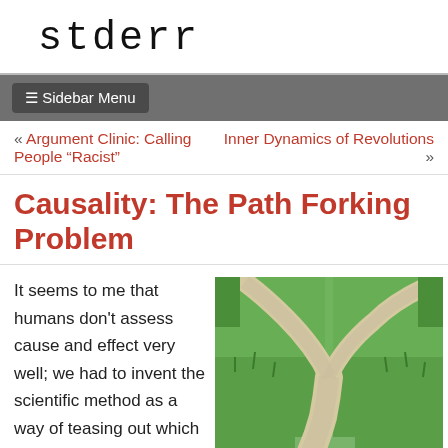stderr
≡ Sidebar Menu
« Argument Clinic: Calling People “Racist”   Inner Dynamics of Revolutions »
Causality: The Path Forking Problem
It seems to me that humans don't assess cause and effect very well; we had to invent the scientific method as a way of teasing out which causes of a particular effect are the
[Figure (photo): A forking dirt path through a green grassy field, splitting into two directions, viewed from above and behind the fork point.]